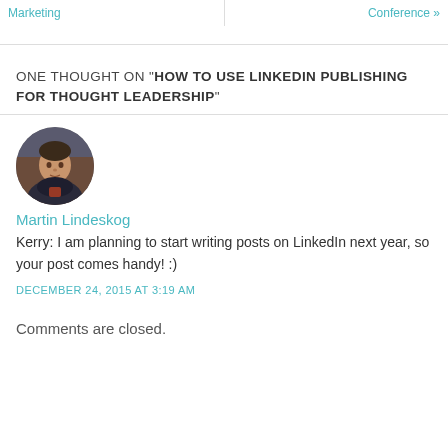Marketing | Conference »
ONE THOUGHT ON "HOW TO USE LINKEDIN PUBLISHING FOR THOUGHT LEADERSHIP"
[Figure (photo): Circular avatar photo of Martin Lindeskog, a man in a dark hoodie]
Martin Lindeskog
Kerry: I am planning to start writing posts on LinkedIn next year, so your post comes handy! :)
DECEMBER 24, 2015 AT 3:19 AM
Comments are closed.